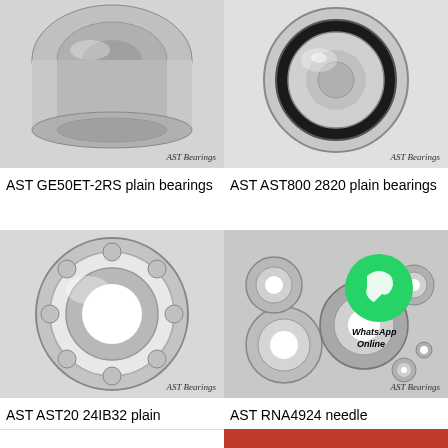[Figure (photo): Photo of AST GE50ET-2RS plain bearing - cylindrical metal bearing component on white background with 'AST Bearings' watermark]
AST GE50ET-2RS plain bearings
[Figure (photo): Photo of AST AST800 2820 plain bearing - round bearing with rubber seal on white background with 'AST Bearings' watermark]
AST AST800 2820 plain bearings
[Figure (photo): Photo of AST AST20 24IB32 plain bearing - open ball bearing on white background with 'AST Bearings' watermark]
AST AST20 24IB32 plain
[Figure (photo): Photo of AST RNA4924 needle bearing - multiple assorted bearings with WhatsApp Online overlay logo]
AST RNA4924 needle
All Products
Contact Now